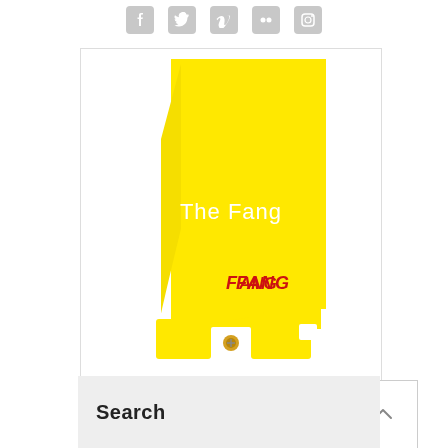[Figure (other): Row of five social media icons (Facebook, Twitter, Vimeo, Flickr, Instagram) in gray rounded squares at the top of the page]
[Figure (photo): A bright yellow surfboard fin product called 'The Fang' with red FANG logo branding, photographed against a white background. The fin has a distinctive angular shape with a base attachment mechanism visible at the bottom. White text overlay reads 'The Fang'.]
[Figure (other): Back to top button — a square with light border containing an upward-pointing chevron arrow]
Search